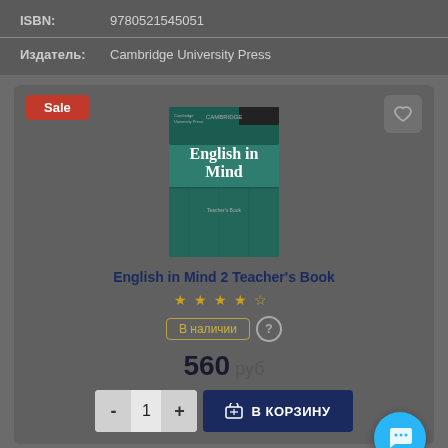ISBN: 9780521545051
Издатель: Cambridge University Press
[Figure (photo): Book cover of English in Mind 2 Teacher's Book — teal/green cover with title text]
English in Mind 2 Teacher's Book
★★★★☆ (star rating)
В наличии
560 руб
- 1 + В КОРЗИНУ
ISBN: 9780521750608